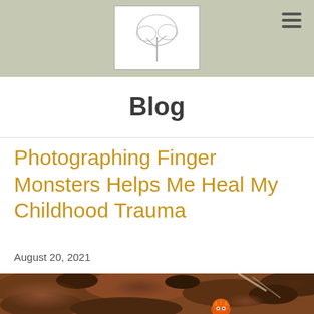[Website logo / tree illustration]
Blog
Photographing Finger Monsters Helps Me Heal My Childhood Trauma
August 20, 2021
[Figure (photo): Close-up photo of a small orange spiky finger monster figurine on rocky, reddish-brown earth or stone terrain]